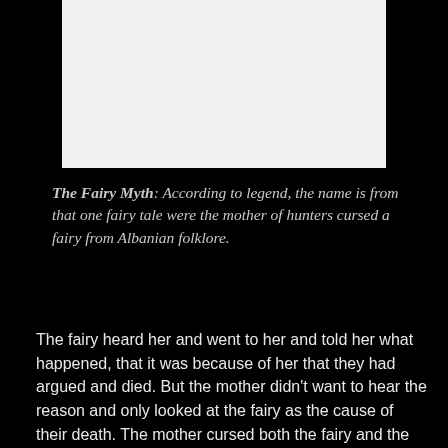[Figure (photo): A white/light gray rectangular image area at the top of the page, likely a photograph with no visible detail at this rendering.]
The Fairy Myth: According to legend, the name is from that one fairy tale were the mother of hunters cursed a fairy from Albanian folklore.
The fairy heard her and went to her and told her what happened, that it was because of her that they had argued and died. But the mother didn't want to hear the reason and only looked at the fairy as the cause of their death. The mother cursed both the fairy and the mountains, blaming them for her son's deaths. And